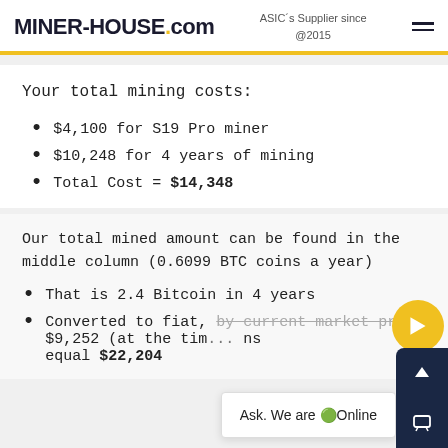MINER-HOUSE.com — ASIC's Supplier since @2015
Your total mining costs:
$4,100 for S19 Pro miner
$10,248 for 4 years of mining
Total Cost = $14,348
Our total mined amount can be found in the middle column (0.6099 BTC coins a year)
That is 2.4 Bitcoin in 4 years
Converted to fiat, by current market price $9,252 (at the time) ... ns equal $22,204